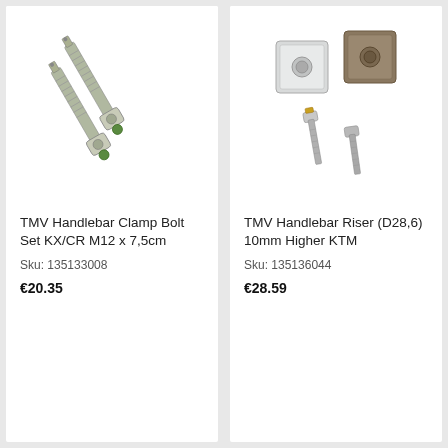[Figure (photo): Two long threaded bolts with hex nuts at the ends, TMV Handlebar Clamp Bolt Set]
TMV Handlebar Clamp Bolt Set KX/CR M12 x 7,5cm
Sku: 135133008
€20.35
[Figure (photo): Two square metal blocks with holes and two hex bolts, TMV Handlebar Riser set]
TMV Handlebar Riser (D28,6) 10mm Higher KTM
Sku: 135136044
€28.59